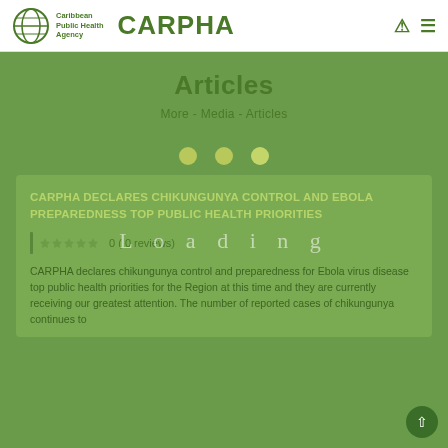[Figure (logo): CARPHA - Caribbean Public Health Agency logo with globe icon and text]
Articles
More - Media - Articles
CARPHA DECLARES CHIKUNGUNYA CONTROL AND EBOLA PREPAREDNESS TOP PUBLIC HEALTH PRIORITIES
0 ( 0 reviews)
CARPHA declares chikungunya control and preparedness for Ebola virus disease top public health priorities for the Region at this time and they are currently receiving our greatest attention. The number of reported cases of chikungunya continues to...